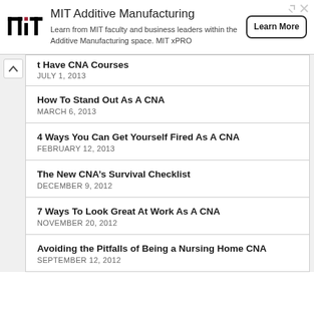[Figure (logo): MIT Additive Manufacturing advertisement banner with MIT logo, description text, and Learn More button]
t Have CNA Courses
JULY 1, 2013
How To Stand Out As A CNA
MARCH 6, 2013
4 Ways You Can Get Yourself Fired As A CNA
FEBRUARY 12, 2013
The New CNA’s Survival Checklist
DECEMBER 9, 2012
7 Ways To Look Great At Work As A CNA
NOVEMBER 20, 2012
Avoiding the Pitfalls of Being a Nursing Home CNA
SEPTEMBER 12, 2012